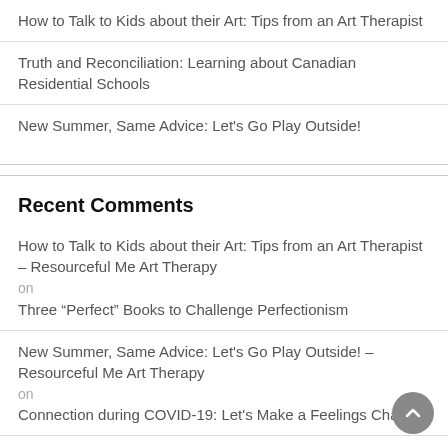How to Talk to Kids about their Art: Tips from an Art Therapist
Truth and Reconciliation: Learning about Canadian Residential Schools
New Summer, Same Advice: Let's Go Play Outside!
Recent Comments
How to Talk to Kids about their Art: Tips from an Art Therapist – Resourceful Me Art Therapy
on
Three “Perfect” Books to Challenge Perfectionism
New Summer, Same Advice: Let's Go Play Outside! – Resourceful Me Art Therapy
on
Connection during COVID-19: Let's Make a Feelings Chart!